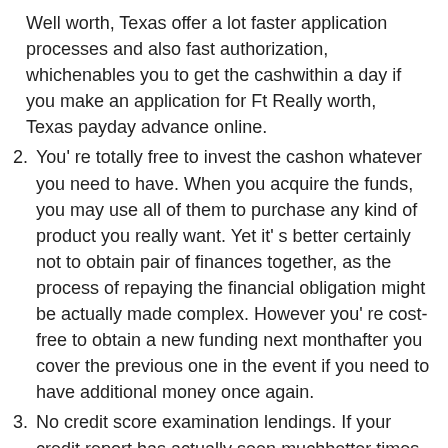Well worth, Texas offer a lot faster application processes and also fast authorization, whichenables you to get the cashwithin a day if you make an application for Ft Really worth, Texas payday advance online.
2. You' re totally free to invest the cashon whatever you need to have. When you acquire the funds, you may use all of them to purchase any kind of product you really want. Yet it' s better certainly not to obtain pair of finances together, as the process of repaying the financial obligation might be actually made complex. However you' re cost-free to obtain a new funding next monthafter you cover the previous one in the event if you need to have additional money once again.
3. No credit score examination lendings. If your credit report has actually seen muchbetter times, you can still get a cashloan in Fortress Truly worth, Texas. All cashadvance loan providers inspect if you are able to pay back the finance as well as wear' t pay attention to your